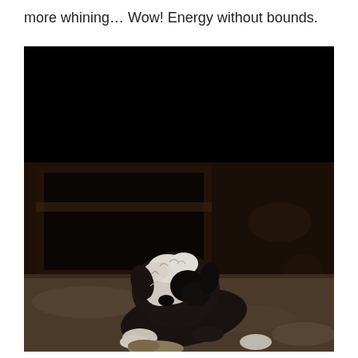more whining… Wow! Energy without bounds.
[Figure (photo): A black and white puppy or small dog lying on a stone/concrete floor in a dark room, appearing to chew on something. The background shows what looks like a dark fireplace or doorway with wooden/stone walls. The upper portion of the image is very dark/black.]